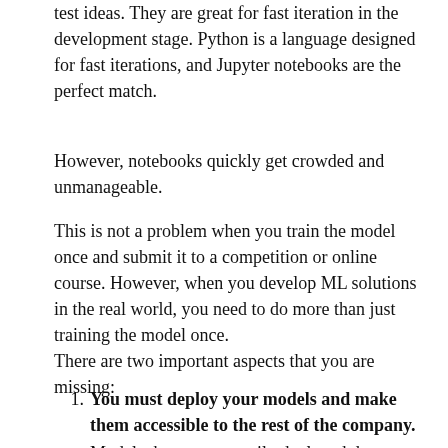test ideas. They are great for fast iteration in the development stage. Python is a language designed for fast iterations, and Jupyter notebooks are the perfect match.
However, notebooks quickly get crowded and unmanageable.
This is not a problem when you train the model once and submit it to a competition or online course. However, when you develop ML solutions in the real world, you need to do more than just training the model once.
There are two important aspects that you are missing:
1. You must deploy your models and make them accessible to the rest of the company. Models that are not easily deployed do not bring value. In the industry, an ok-ish model that can be easily deployed is better than the latest...